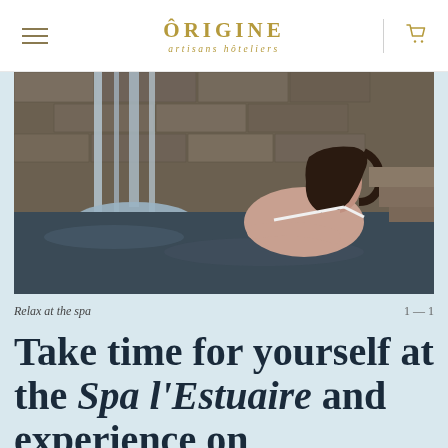ÔRIGINE artisans hôteliers
[Figure (photo): Woman relaxing in an outdoor stone pool spa with waterfall feature in the background]
Relax at the spa
1 — 1
Take time for yourself at the Spa l'Estuaire and experience on